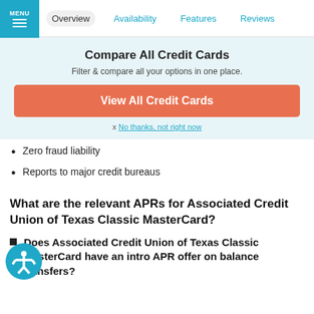MENU | Overview | Availability | Features | Reviews
Compare All Credit Cards
Filter & compare all your options in one place.
View All Credit Cards
x No thanks, not right now
Zero fraud liability
Reports to major credit bureaus
What are the relevant APRs for Associated Credit Union of Texas Classic MasterCard?
Does Associated Credit Union of Texas Classic MasterCard have an intro APR offer on balance transfers?